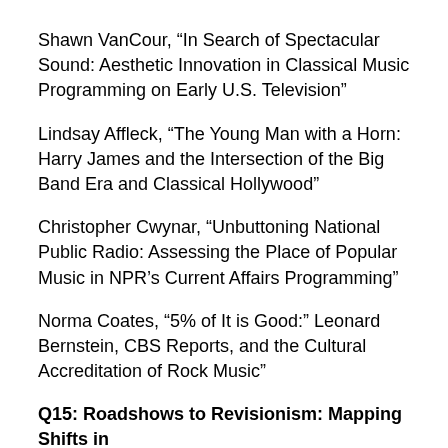Shawn VanCour, “In Search of Spectacular Sound: Aesthetic Innovation in Classical Music Programming on Early U.S. Television”
Lindsay Affleck, “The Young Man with a Horn: Harry James and the Intersection of the Big Band Era and Classical Hollywood”
Christopher Cwynar, “Unbuttoning National Public Radio: Assessing the Place of Popular Music in NPR’s Current Affairs Programming”
Norma Coates, “5% of It is Good:” Leonard Bernstein, CBS Reports, and the Cultural Accreditation of Rock Music”
Q15: Roadshows to Revisionism: Mapping Shifts in